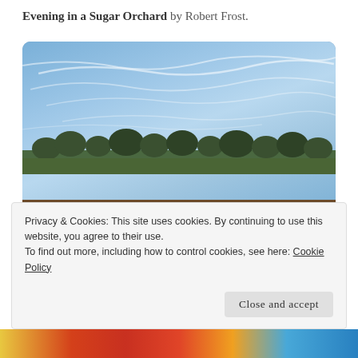Evening in a Sugar Orchard by Robert Frost.
[Figure (photo): A wide-angle photograph of a ploughed brown field under a bright blue sky with wispy white cloud streaks, bare trees visible along the horizon line in the distance.]
Privacy & Cookies: This site uses cookies. By continuing to use this website, you agree to their use.
To find out more, including how to control cookies, see here: Cookie Policy
Close and accept